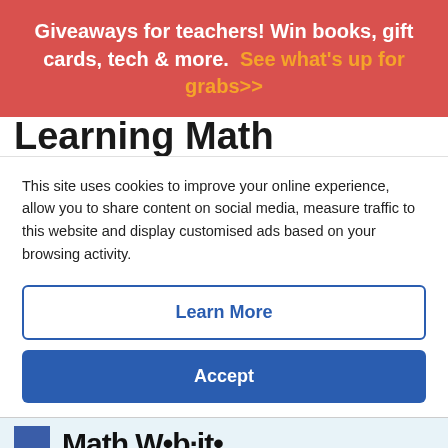Giveaways for teachers! Win books, gift cards, tech & more. See what's up for grabs>>
Learning Math
This site uses cookies to improve your online experience, allow you to share content on social media, measure traffic to this website and display customised ads based on your browsing activity.
Learn More
Accept
[Figure (screenshot): Partially visible website image strip showing math-related content]
< See More Learning at Home Resources
Social share bar with Facebook, Twitter, Pinterest, and Email icons